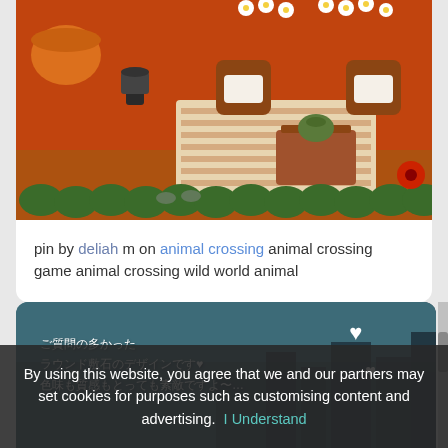[Figure (screenshot): Animal Crossing game screenshot showing an outdoor area with red/brown terrain, wicker chairs, a striped rug, a coffee table with a teapot, various plants and flowers, and stepping stones along the bottom edge.]
pin by deliah m on animal crossing animal crossing game animal crossing wild world animal
[Figure (screenshot): Animal Crossing Japanese game screenshot with a teal/dark blue-green background, two white hearts, and Japanese text reading: ご質問の多かった ラウンド敷石のデザインです♥ 色味も質感もとっても素敵ですよ〜…]
By using this website, you agree that we and our partners may set cookies for purposes such as customising content and advertising. I Understand